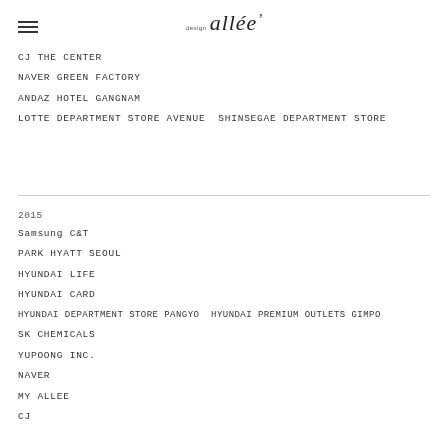DESIGN allée
CJ THE CENTER
NAVER GREEN FACTORY
ANDAZ HOTEL GANGNAM
LOTTE DEPARTMENT STORE AVENUE  SHINSEGAE DEPARTMENT STORE
2015
Samsung C&T
PARK HYATT SEOUL
HYUNDAI LIFE
HYUNDAI CARD
HYUNDAI DEPARTMENT STORE PANGYO  HYUNDAI PREMIUM OUTLETS GIMPO
SK CHEMICALS
YUPOONG INC.
NAVER
MY ALLEE
CJ